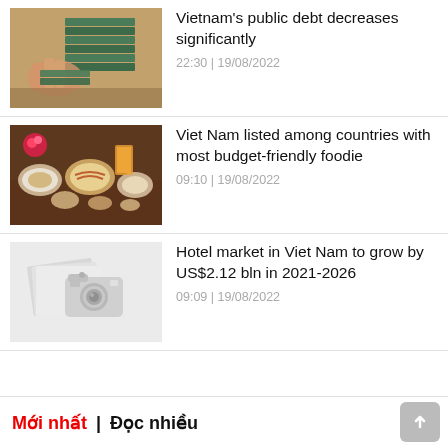[Figure (photo): Stack of Vietnamese banknotes with person counting money]
Vietnam's public debt decreases significantly
22:30 | 19/08/2022
[Figure (photo): Table with various Vietnamese food dishes and drinks]
Viet Nam listed among countries with most budget-friendly foodie
09:10 | 19/08/2022
[Figure (photo): Camera placeholder image on light gray background]
Hotel market in Viet Nam to grow by US$2.12 bln in 2021-2026
09:09 | 19/08/2022
Mới nhất | Đọc nhiều